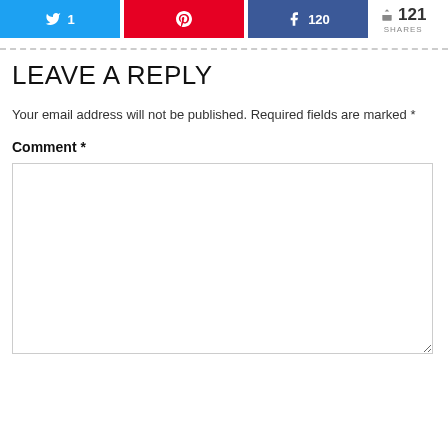[Figure (infographic): Social share bar with Twitter (1), Pinterest, Facebook (120) buttons and 121 total shares]
LEAVE A REPLY
Your email address will not be published. Required fields are marked *
Comment *
[Figure (screenshot): Empty comment text area input box]